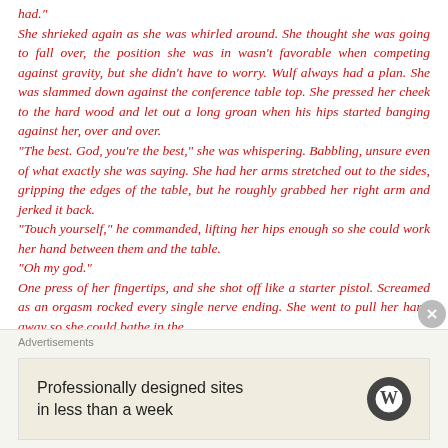had."
She shrieked again as she was whirled around. She thought she was going to fall over, the position she was in wasn't favorable when competing against gravity, but she didn't have to worry. Wulf always had a plan. She was slammed down against the conference table top. She pressed her cheek to the hard wood and let out a long groan when his hips started banging against her, over and over.
"The best. God, you're the best," she was whispering. Babbling, unsure even of what exactly she was saying. She had her arms stretched out to the sides, gripping the edges of the table, but he roughly grabbed her right arm and jerked it back.
"Touch yourself," he commanded, lifting her hips enough so she could work her hand between them and the table.
"Oh my god."
One press of her fingertips, and she shot off like a starter pistol. Screamed as an orgasm rocked every single nerve ending. She went to pull her hand away so she could bathe in the
Advertisements
[Figure (other): WordPress advertisement banner: 'Professionally designed sites in less than a week' with WordPress logo]